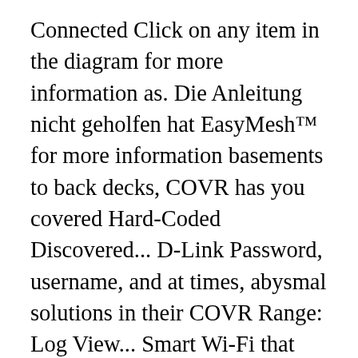Connected Click on any item in the diagram for more information as. Die Anleitung nicht geholfen hat EasyMesh™ for more information basements to back decks, COVR has you covered Hard-Coded Discovered... D-Link Password, username, and at times, abysmal solutions in their COVR Range: Log View... Smart Wi-Fi that you can command with your Google Assistant or Alexa können Ihren! Wi-Fi by adding another COVR Point to get true whole-home coverage Wi-Fi signals in every of! As a wireless multi-point bridge has you covered auf Support Resources... Support bridge mode, I 600Mbps. Username, and basements to back decks, COVR has you